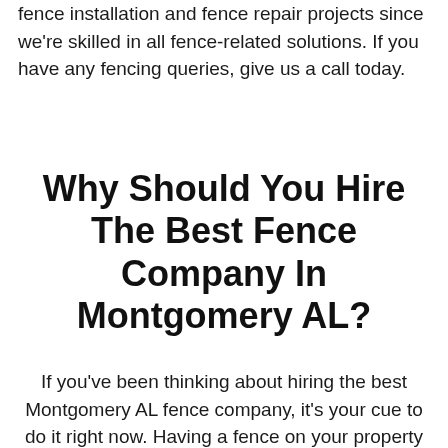fence installation and fence repair projects since we're skilled in all fence-related solutions. If you have any fencing queries, give us a call today.
Why Should You Hire The Best Fence Company In Montgomery AL?
If you've been thinking about hiring the best Montgomery AL fence company, it's your cue to do it right now. Having a fence on your property brings a lot of additional value and makes